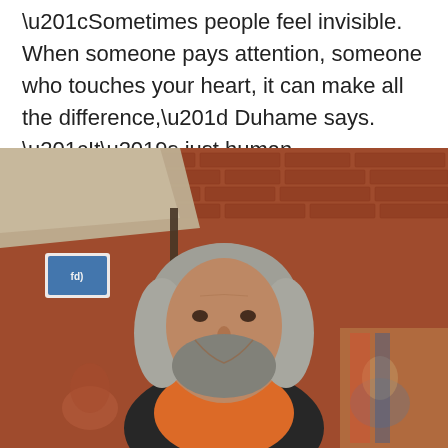“Sometimes people feel invisible. When someone pays attention, someone who touches your heart, it can make all the difference,” Duhame says. “It’s just human kindness.”
[Figure (photo): An older man with long gray hair and a gray beard, wearing an orange shirt under a dark jacket, smiling at the camera. Behind him is a red brick wall and a beige tent canopy. Other people are visible blurred in the background.]